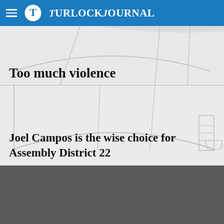Turlock Journal
Too much violence
[Figure (illustration): Partial background illustration of a building/cityscape in light gray tones, overlapping two article preview areas]
Joel Campos is the wise choice for Assembly District 22
[Figure (photo): Dark gray rectangle representing a photo or video thumbnail area below the article previews]